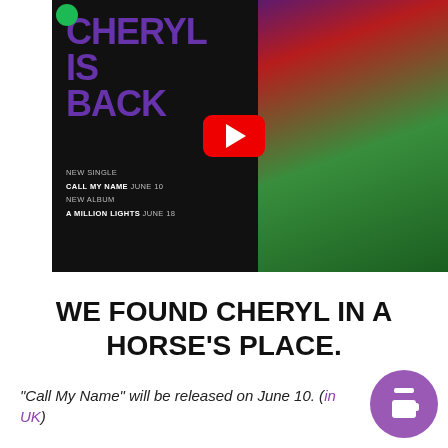[Figure (screenshot): YouTube video thumbnail showing 'CHERYL IS BACK' promotional artwork with text 'NEW SINGLE CALL MY NAME JUNE 10 / NEW ALBUM A MILLION LIGHTS JUNE 18' and a photo of Cheryl in colorful outfit with gold chain accessories on a green background. A YouTube play button is overlaid in the center.]
WE FOUND CHERYL IN A HORSE'S PLACE.
"Call My Name" will be released on June 10. (in UK)